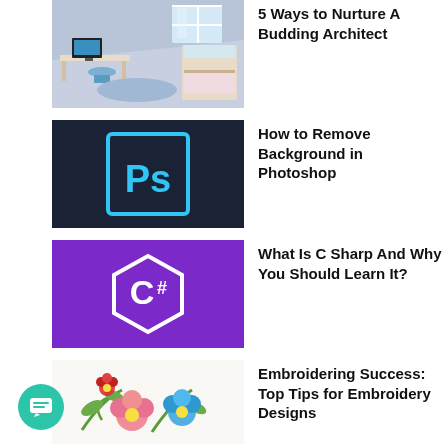[Figure (photo): A child's bedroom with a desk, computer, and bunk bed, light blue walls, attic-style ceiling — thumbnail for article about nurturing a budding architect]
5 Ways to Nurture A Budding Architect
[Figure (screenshot): Adobe Photoshop logo (Ps) on dark navy background — thumbnail for Photoshop tutorial]
How to Remove Background in Photoshop
[Figure (illustration): C# programming language logo — white hexagon with C# text on purple background]
What Is C Sharp And Why You Should Learn It?
[Figure (photo): Colorful embroidered flowers (pink, blue, red) with green leaves on white fabric — thumbnail for embroidery article]
Embroidering Success: Top Tips for Embroidery Designs